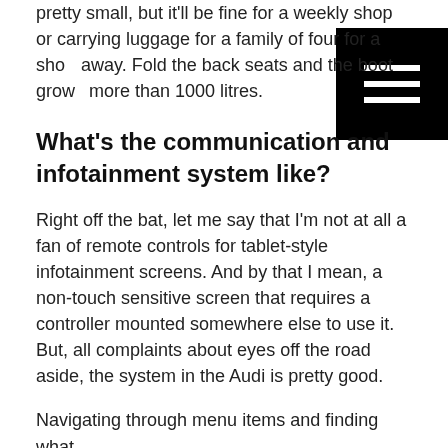pretty small, but it'll be fine for a weekly shop or carrying luggage for a family of four for a short away. Fold the back seats and the boot grows more than 1000 litres.
What's the communication and infotainment system like?
Right off the bat, let me say that I'm not at all a fan of remote controls for tablet-style infotainment screens. And by that I mean, a non-touch sensitive screen that requires a controller mounted somewhere else to use it. But, all complaints about eyes off the road aside, the system in the Audi is pretty good.
Navigating through menu items and finding what